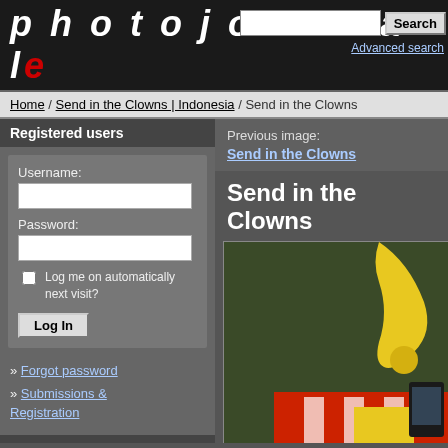photojournale
Search | Advanced search
Home / Send in the Clowns | Indonesia / Send in the Clowns
Registered users
Username:
Password:
Log me on automatically next visit?
Log In
» Forgot password
» Submissions & Registration
Random image
[Figure (photo): Photo of a child with a breathing tube, medical scene]
Previous image:
Send in the Clowns
Send in the Clowns
[Figure (photo): Photo showing colorful clown props/toys including a yellow curved item and red/white patterned object against a green background]